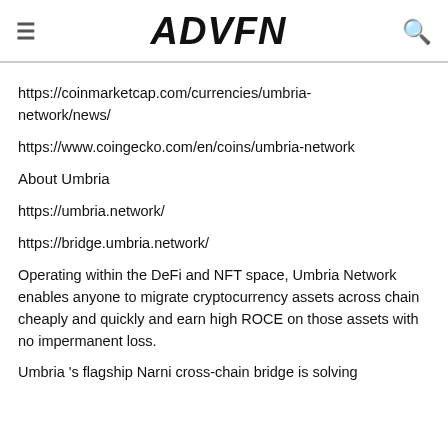ADVFN
https://coinmarketcap.com/currencies/umbria-network/news/
https://www.coingecko.com/en/coins/umbria-network
About Umbria
https://umbria.network/
https://bridge.umbria.network/
Operating within the DeFi and NFT space, Umbria Network enables anyone to migrate cryptocurrency assets across chain cheaply and quickly and earn high ROCE on those assets with no impermanent loss.
Umbria 's flagship Narni cross-chain bridge is solving